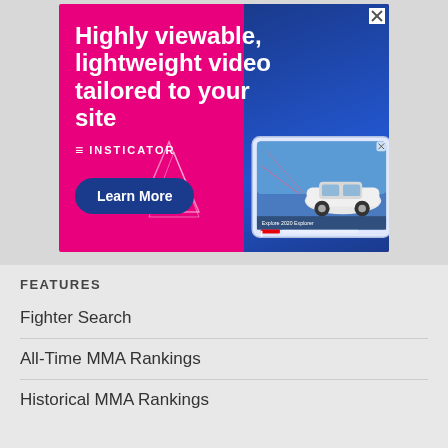[Figure (illustration): Advertisement banner for Insticator: 'Highly viewable, lightweight video tailored to your site' with a Learn More button and an image of a Ford 2020 Explorer on a tablet screen. Pink and blue background.]
FEATURES
Fighter Search
All-Time MMA Rankings
Historical MMA Rankings